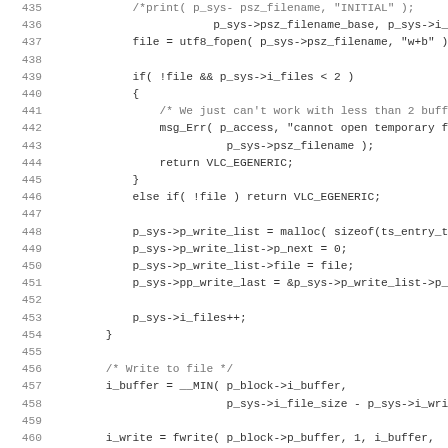Source code excerpt showing C code lines 435-467, including file operations, write list management, and buffer write logic in VLC media player source.